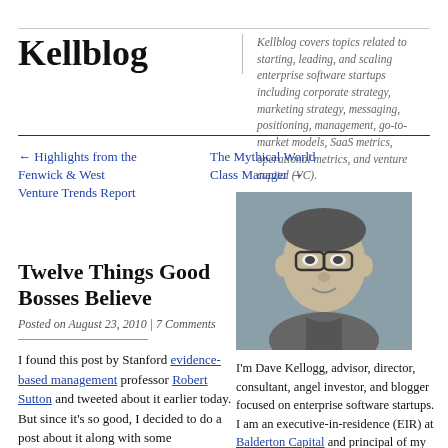Kellblog
Kellblog covers topics related to starting, leading, and scaling enterprise software startups including corporate strategy, marketing strategy, messaging, positioning, management, go-to-market models, SaaS metrics, operational metrics, and venture capital (VC).
← Highlights from the Fenwick & West Venture Trends Report
The Mythical World Class Manager →
[Figure (photo): Black and white headshot photo of Dave Kellogg, a middle-aged man with glasses]
Twelve Things Good Bosses Believe
Posted on August 23, 2010 | 7 Comments
I found this post by Stanford evidence-based management professor Robert Sutton and tweeted about it earlier today.  But since it's so good, I decided to do a post about it along with some commentary.  First, here are the twelve
I'm Dave Kellogg, advisor, director, consultant, angel investor, and blogger focused on enterprise software startups.  I am an executive-in-residence (EIR) at Balderton Capital and principal of my own eponymous consulting